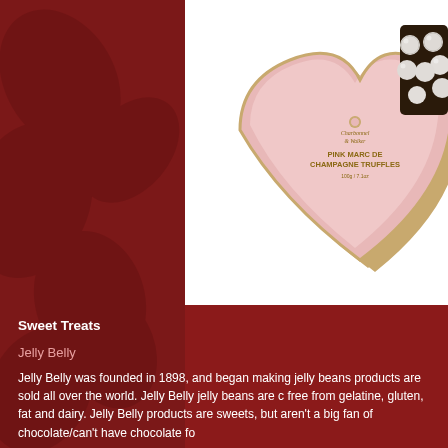[Figure (photo): A heart-shaped pink box of Pink Marc de Champagne Truffles by Charbonnel et Walker, open to reveal round white dusted chocolate truffles inside, on a white background.]
Sweet Treats
Jelly Belly
Jelly Belly was founded in 1898, and began making jelly beans products are sold all over the world. Jelly Belly jelly beans are c free from gelatine, gluten, fat and dairy. Jelly Belly products are sweets, but aren't a big fan of chocolate/can't have chocolate fo